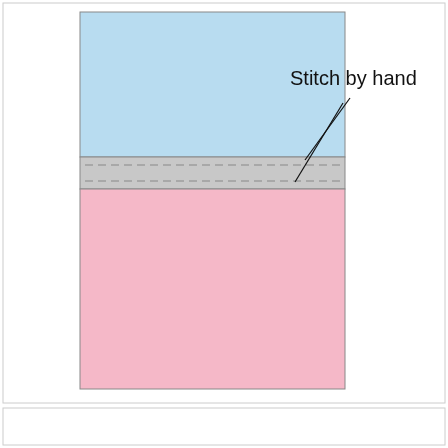[Figure (illustration): Sewing/quilting diagram showing two fabric panels joined together. Top panel is light blue, bottom panel is light pink/rose. Between them is a gray horizontal band with two dashed lines indicating stitching. A label 'Stitch by hand' appears to the upper right with two diagonal lines pointing to the stitched seam area.]